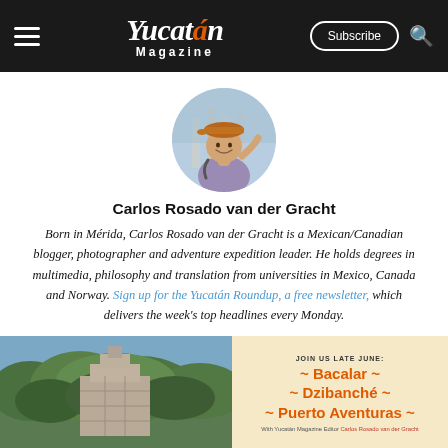Yucatán Magazine — Subscribe
[Figure (photo): Circular portrait photo of Carlos Rosado van der Gracht, smiling, wearing an orange cap and backpack, with ruins/columns in background]
Carlos Rosado van der Gracht
Born in Mérida, Carlos Rosado van der Gracht is a Mexican/Canadian blogger, photographer and adventure expedition leader. He holds degrees in multimedia, philosophy and translation from universities in Mexico, Canada and Norway. Sign up for the Yucatán Roundup, a free newsletter, which delivers the week's top headlines every Monday.
[Figure (photo): Aerial/overview photo of Mayan ruins surrounded by jungle canopy, next to a promotional ad reading JOIN US LATE JUNE: ~ Bacalar ~ ~ Dzibanché ~ ~ Puerto Aventuras ~ With Yucatán Magazine Editor Carlos Rosado van der Gracht]